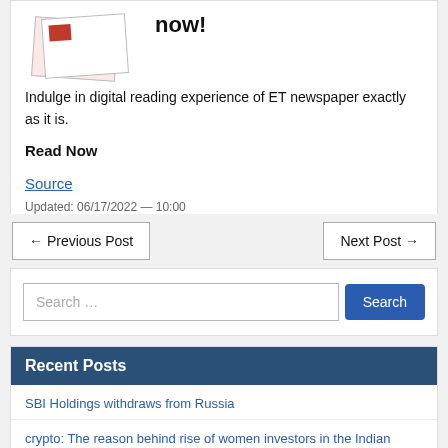[Figure (illustration): Newspaper/magazine illustration image]
now!
Indulge in digital reading experience of ET newspaper exactly as it is.
Read Now
Source
Updated: 06/17/2022 — 10:00
← Previous Post
Next Post →
Search …
Search
Recent Posts
SBI Holdings withdraws from Russia
crypto: The reason behind rise of women investors in the Indian crypto market